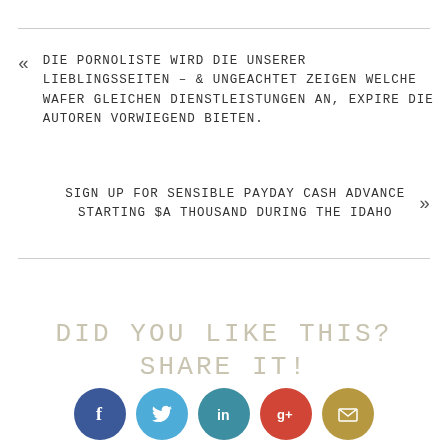DIE PORNOLISTE WIRD DIE UNSERER LIEBLINGSSEITEN – & UNGEACHTET ZEIGEN WELCHE WAFER GLEICHEN DIENSTLEISTUNGEN AN, EXPIRE DIE AUTOREN VORWIEGEND BIETEN.
SIGN UP FOR SENSIBLE PAYDAY CASH ADVANCE STARTING $A THOUSAND DURING THE IDAHO
DID YOU LIKE THIS? SHARE IT!
[Figure (infographic): Five social media share buttons in circular form: Facebook (dark blue), Twitter (light blue), LinkedIn (teal), Google+ (red), Email (gold/olive)]